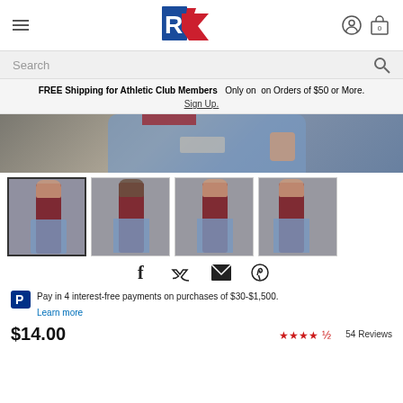[Figure (logo): Russell Athletic logo - blue R and red athletic figure]
[Figure (screenshot): Search bar with magnifying glass icon on gray background]
FREE Shipping for Athletic Club Members   Only on  on Orders of $50 or More.
Sign Up.
[Figure (photo): Cropped photo of girl in red long sleeve shirt and ripped light blue jeans]
[Figure (photo): Thumbnail 1: Girl in red long sleeve shirt, front view, selected]
[Figure (photo): Thumbnail 2: Girl in red long sleeve shirt, back view]
[Figure (photo): Thumbnail 3: Girl in red long sleeve shirt, side view]
[Figure (photo): Thumbnail 4: Girl in red long sleeve shirt, partial view]
[Figure (infographic): Social sharing icons: Facebook, Twitter, Email, Pinterest]
Pay in 4 interest-free payments on purchases of $30-$1,500.
Learn more
$14.00
54 Reviews